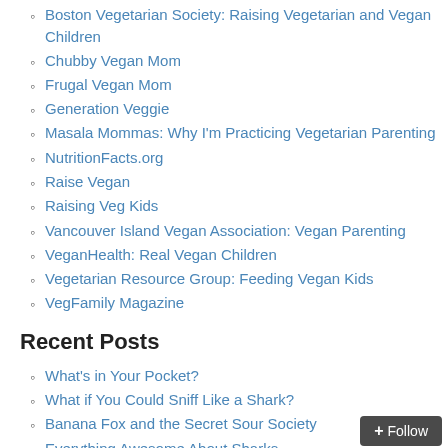Boston Vegetarian Society: Raising Vegetarian and Vegan Children
Chubby Vegan Mom
Frugal Vegan Mom
Generation Veggie
Masala Mommas: Why I'm Practicing Vegetarian Parenting
NutritionFacts.org
Raise Vegan
Raising Veg Kids
Vancouver Island Vegan Association: Vegan Parenting
VeganHealth: Real Vegan Children
Vegetarian Resource Group: Feeding Vegan Kids
VegFamily Magazine
Recent Posts
What's in Your Pocket?
What if You Could Sniff Like a Shark?
Banana Fox and the Secret Sour Society
Everything Awesome About Sharks
Allergic
One Small Hop
Finding Home